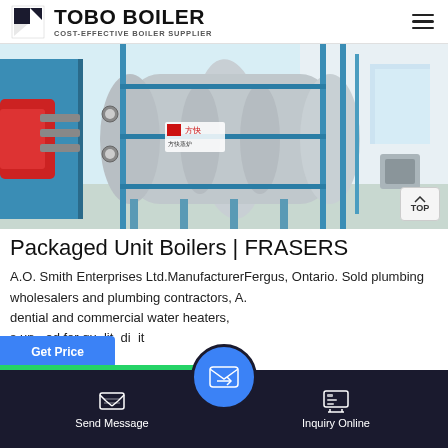TOBO BOILER — COST-EFFECTIVE BOILER SUPPLIER
[Figure (photo): Industrial packaged unit boiler in a factory/warehouse setting. Large cylindrical boiler vessel with blue metal frame, red burner on the left side, piping and gauges visible. Chinese manufacturer logo on the boiler body.]
Packaged Unit Boilers | FRASERS
A.O. Smith Enterprises Ltd.ManufacturerFergus, Ontario. Sold plumbing wholesalers and plumbing contractors, A. dential and commercial water heaters, s un ed for qu lit di it
Send Message   Inquiry Online